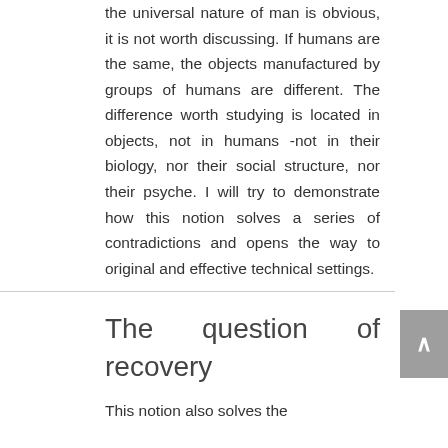the universal nature of man is obvious, it is not worth discussing. If humans are the same, the objects manufactured by groups of humans are different. The difference worth studying is located in objects, not in humans -not in their biology, nor their social structure, nor their psyche. I will try to demonstrate how this notion solves a series of contradictions and opens the way to original and effective technical settings.
The question of recovery
This notion also solves the